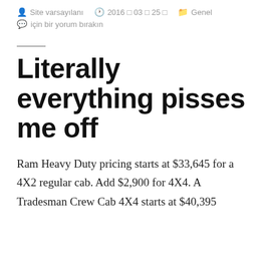Site varsayılanı   2016 □ 03 □ 25 □   Genel
için bir yorum bırakın
Literally everything pisses me off
Ram Heavy Duty pricing starts at $33,645 for a 4X2 regular cab. Add $2,900 for 4X4. A Tradesman Crew Cab 4X4 starts at $40,395